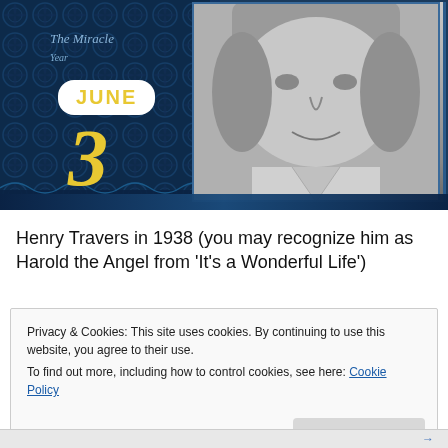[Figure (photo): Composite image: left side shows an ornate dark blue decorative background with 'The Miracle' text in blue italic script and a large ornate numeral '3' in gold/yellow with a white badge showing 'JUNE' in bold yellow text. Right side shows a black-and-white photograph of Henry Travers (an elderly man) from 1938.]
Henry Travers in 1938 (you may recognize him as Harold the Angel from 'It's a Wonderful Life')
Privacy & Cookies: This site uses cookies. By continuing to use this website, you agree to their use.
To find out more, including how to control cookies, see here: Cookie Policy